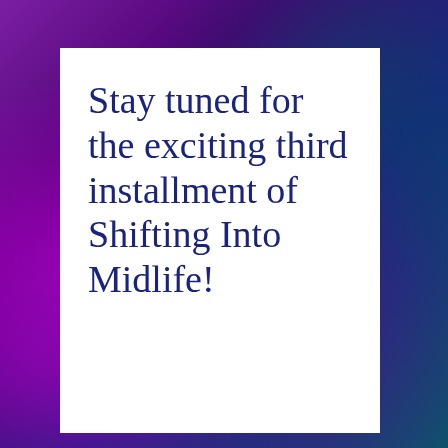[Figure (illustration): Colorful purple and teal smoke/ink swirl background with a white rectangular card overlay containing text]
Stay tuned for the exciting third installment of Shifting Into Midlife!